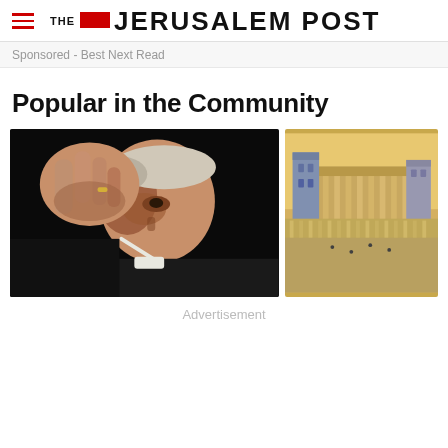THE JERUSALEM POST
Sponsored - Best Next Read
Popular in the Community
[Figure (photo): Elderly male conductor holding a baton close-up, dramatic black background]
[Figure (illustration): Illustrated aerial view of an ancient temple complex with columns and colonnades on a yellow/ochre background]
Advertisement